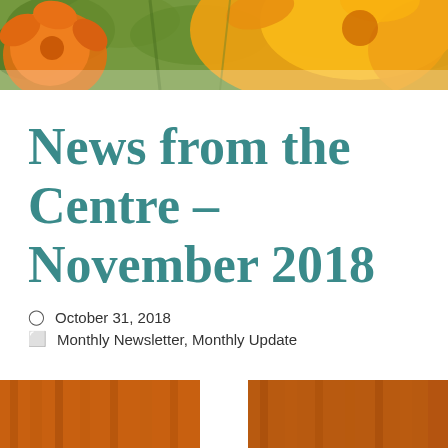[Figure (photo): Header photo showing orange and yellow flowers with green foliage in the background]
News from the Centre – November 2018
October 31, 2018
Monthly Newsletter, Monthly Update
[Figure (photo): Bottom strip photo showing warm orange/brown tones, partial view of autumn items]